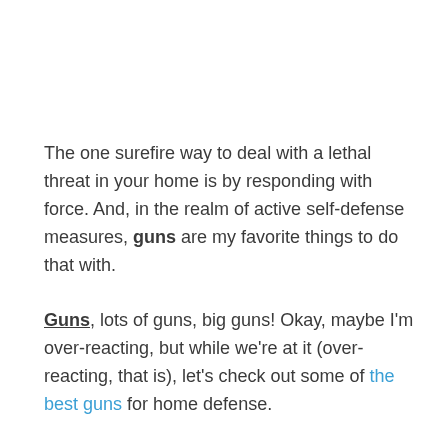The one surefire way to deal with a lethal threat in your home is by responding with force. And, in the realm of active self-defense measures, guns are my favorite things to do that with.
Guns, lots of guns, big guns! Okay, maybe I'm over-reacting, but while we're at it (over-reacting, that is), let's check out some of the best guns for home defense.